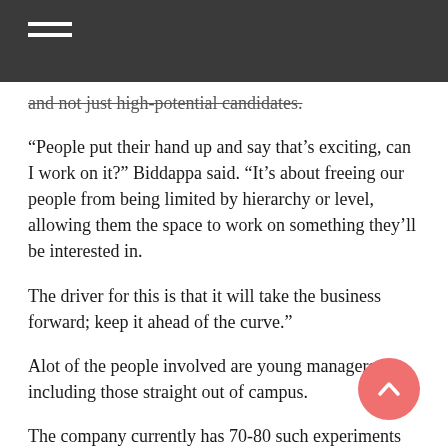and not just high-potential candidates.
“People put their hand up and say that’s exciting, can I work on it?” Biddappa said. “It’s about freeing our people from being limited by hierarchy or level, allowing them the space to work on something they’ll be interested in.
The driver for this is that it will take the business forward; keep it ahead of the curve.”
Alot of the people involved are young managers including those straight out of campus.
The company currently has 70-80 such experiments running, each with different teams, under the initiative built up over the last 18 months.
Under external immersions, HUL talent gets to work in a host of companies, from startups such as robotics